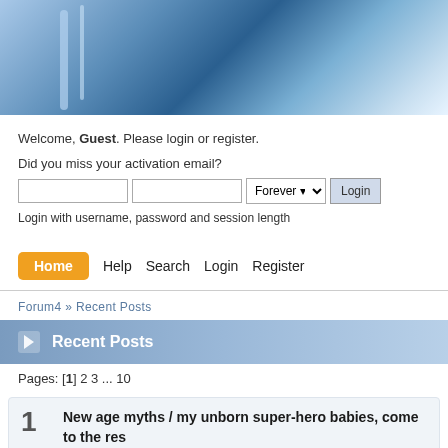[Figure (photo): Blue and silver abstract header banner with architectural/metallic elements]
Welcome, Guest. Please login or register. Did you miss your activation email?
Login with username, password and session length
Home  Help  Search  Login  Register
Forum4 » Recent Posts
Recent Posts
Pages: [1] 2 3 ... 10
1  New age myths / my unborn super-hero babies, come to the res...
« Last post by tally-ho! on 28 September 2021 08:01:59 PM »